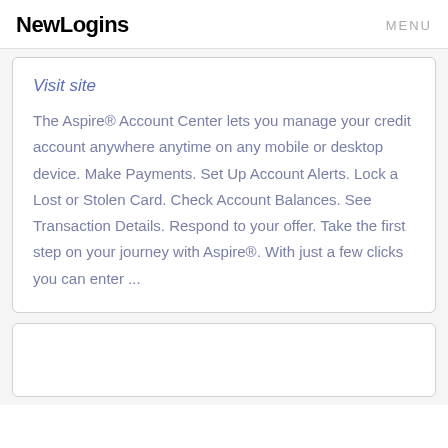NewLogins   MENU
Visit site
The Aspire® Account Center lets you manage your credit account anywhere anytime on any mobile or desktop device. Make Payments. Set Up Account Alerts. Lock a Lost or Stolen Card. Check Account Balances. See Transaction Details. Respond to your offer. Take the first step on your journey with Aspire®. With just a few clicks you can enter ...